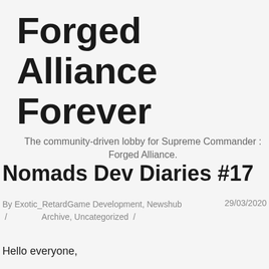Forged Alliance Forever
The community-driven lobby for Supreme Commander : Forged Alliance.
Nomads Dev Diaries #17
By Exotic_RetardGame Development, Newshub / Archive, Uncategorized /
29/03/2020
Hello everyone,